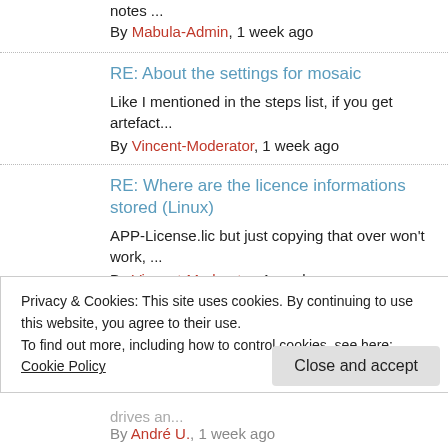notes ... By Mabula-Admin, 1 week ago
RE: About the settings for mosaic — Like I mentioned in the steps list, if you get artefact... By Vincent-Moderator, 1 week ago
RE: Where are the licence informations stored (Linux) — APP-License.lic but just copying that over won't work, ... By Vincent-Moderator, 1 week ago
RE: About the settings for mosaic — @vincent_mod At first, it seemed that there was...
Privacy & Cookies: This site uses cookies. By continuing to use this website, you agree to their use. To find out more, including how to control cookies, see here: Cookie Policy
Close and accept
drives an... By André U., 1 week ago